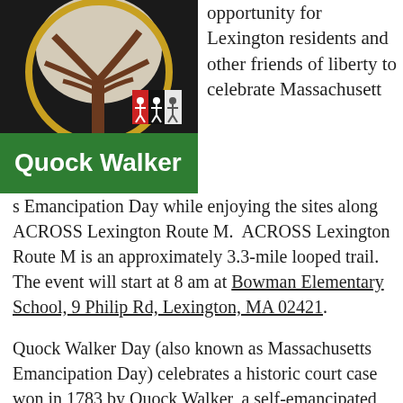[Figure (illustration): Book cover for 'Quock Walker' showing a tree illustration with a gold circular frame on a green background, with a small logo in the upper right corner of the cover.]
opportunity for Lexington residents and other friends of liberty to celebrate Massachusetts Emancipation Day while enjoying the sites along ACROSS Lexington Route M. ACROSS Lexington Route M is an approximately 3.3-mile looped trail. The event will start at 8 am at Bowman Elementary School, 9 Philip Rd, Lexington, MA 02421.
Quock Walker Day (also known as Massachusetts Emancipation Day) celebrates a historic court case won in 1783 by Quock Walker, a self-emancipated man who sued his enslaver for assault and battery. In winning the case, Chief Justice William Cushing not only granted